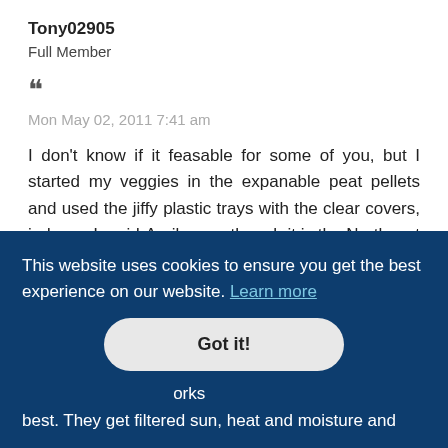Tony02905
Full Member
““
Mon May 02, 2011 7:41 am
I don't know if it feasable for some of you, but I started my veggies in the expanable peat pellets and used the jiffy plastic trays with the clear covers, indoors. In mid-April, even though it is the Northeast and can get quite cold at night, I built a small greenhoouse from materials around the yard. I put the plants inside of it during the day for the first week and brought them in
This website uses cookies to ensure you get the best experience on our website. Learn more
Got it!
works best. They get filtered sun, heat and moisture and